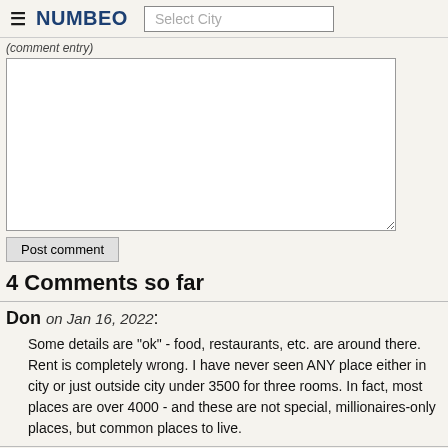NUMBEO | Select City
(comment entry area)
Post comment
4 Comments so far
Don on Jan 16, 2022:
Some details are "ok" - food, restaurants, etc. are around there. Rent is completely wrong. I have never seen ANY place either in city or just outside city under 3500 for three rooms. In fact, most places are over 4000 - and these are not special, millionaires-only places, but common places to live.
Zeno F Nolet BS, MRE on Oct 23, 2021:
We have a Socialist government in a monopoly holding both houses of the assembly and the White House and due to